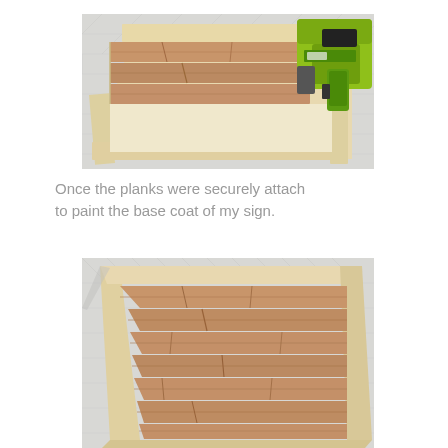[Figure (photo): A wooden sign frame with cedar planks partially placed on top of a white/cream MDF base board, with a yellow RYOBI nail gun in the upper right corner, all resting on a light grey textured carpet.]
Once the planks were securely attach to paint the base coat of my sign.
[Figure (photo): A wooden sign frame with all cedar planks fully attached, lying flat on a light grey textured carpet, viewed from a slight angle showing the completed plank surface within the frame.]